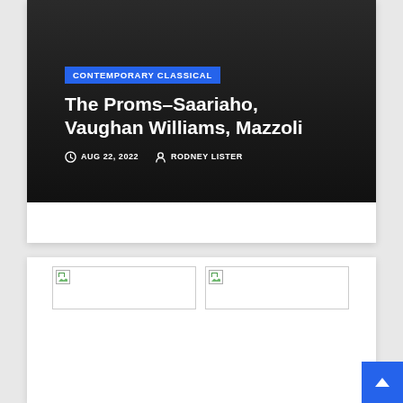CONTEMPORARY CLASSICAL
The Proms–Saariaho, Vaughan Williams, Mazzoli
AUG 22, 2022  RODNEY LISTER
[Figure (photo): Broken image thumbnail 1]
[Figure (photo): Broken image thumbnail 2]